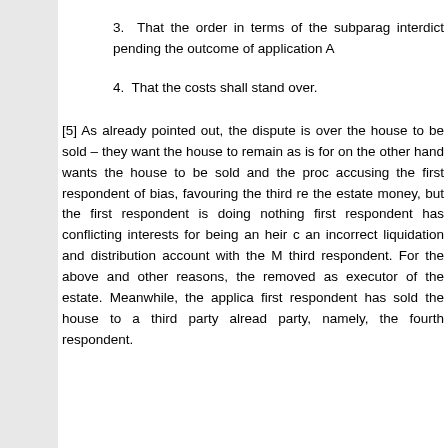3. That the order in terms of the subparagraph interdict pending the outcome of application A
4. That the costs shall stand over.
[5] As already pointed out, the dispute is over the house to be sold – they want the house to remain as is for on the other hand wants the house to be sold and the proc accusing the first respondent of bias, favouring the third re the estate money, but the first respondent is doing nothing first respondent has conflicting interests for being an heir c an incorrect liquidation and distribution account with the M third respondent. For the above and other reasons, the removed as executor of the estate. Meanwhile, the applica first respondent has sold the house to a third party alread party, namely, the fourth respondent.